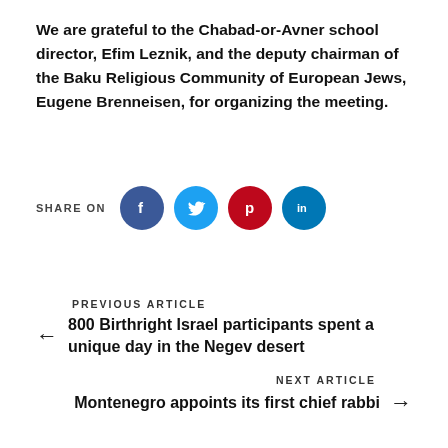We are grateful to the Chabad-or-Avner school director, Efim Leznik, and the deputy chairman of the Baku Religious Community of European Jews, Eugene Brenneisen, for organizing the meeting.
[Figure (infographic): SHARE ON row with four social media icons: Facebook (dark blue circle with f), Twitter (light blue circle with bird), Pinterest (dark red circle with p), LinkedIn (blue circle with in)]
PREVIOUS ARTICLE
← 800 Birthright Israel participants spent a unique day in the Negev desert
NEXT ARTICLE
Montenegro appoints its first chief rabbi →